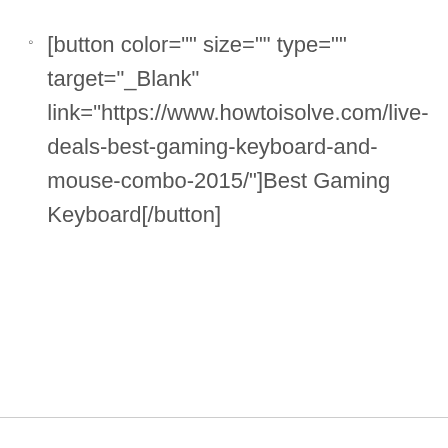[button color="" size="" type="" target="_Blank" link="https://www.howtoisolve.com/live-deals-best-gaming-keyboard-and-mouse-combo-2015/"]Best Gaming Keyboard[/button]